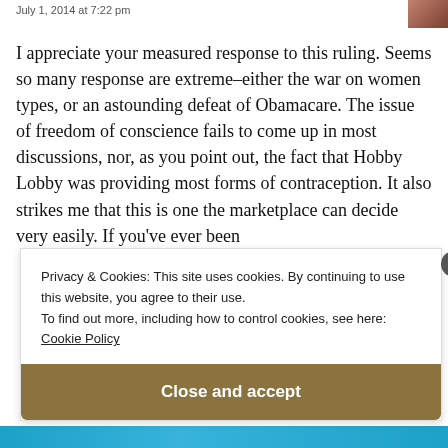July 1, 2014 at 7:22 pm
I appreciate your measured response to this ruling. Seems so many response are extreme–either the war on women types, or an astounding defeat of Obamacare. The issue of freedom of conscience fails to come up in most discussions, nor, as you point out, the fact that Hobby Lobby was providing most forms of contraception. It also strikes me that this is one the marketplace can decide very easily. If you've ever been
Privacy & Cookies: This site uses cookies. By continuing to use this website, you agree to their use.
To find out more, including how to control cookies, see here: Cookie Policy
Close and accept